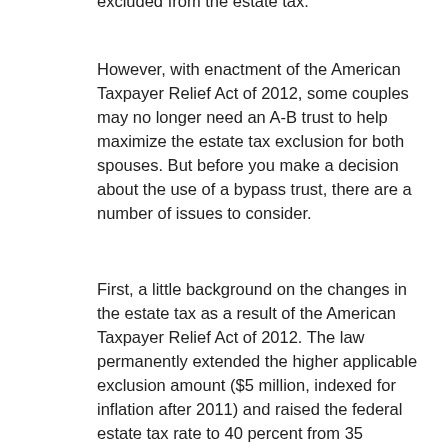excluded from the estate tax.
However, with enactment of the American Taxpayer Relief Act of 2012, some couples may no longer need an A-B trust to help maximize the estate tax exclusion for both spouses. But before you make a decision about the use of a bypass trust, there are a number of issues to consider.
First, a little background on the changes in the estate tax as a result of the American Taxpayer Relief Act of 2012. The law permanently extended the higher applicable exclusion amount ($5 million, indexed for inflation after 2011) and raised the federal estate tax rate to 40 percent from 35 percent. The increased threshold alone eliminates many people from being subject to the federal estate tax. The act also made permanent "portability" of the exclusion to the surviving spouse, which allows surviving spouses to use their spouse's unused exclusion plus their own, enabling couples to exclude up to $10.12 million from...